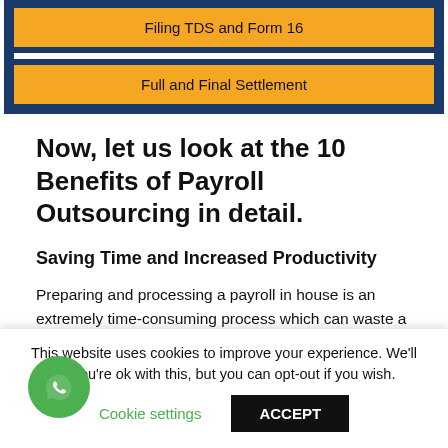[Figure (infographic): Navigation menu with orange buttons on dark blue background showing 'Filing TDS and Form 16' and 'Full and Final Settlement' menu items]
Now, let us look at the 10 Benefits of Payroll Outsourcing in detail.
Saving Time and Increased Productivity
Preparing and processing a payroll in house is an extremely time-consuming process which can waste a significant amount of labour hours each year. This time
This website uses cookies to improve your experience. We'll assume you're ok with this, but you can opt-out if you wish.
Cookie settings
ACCEPT